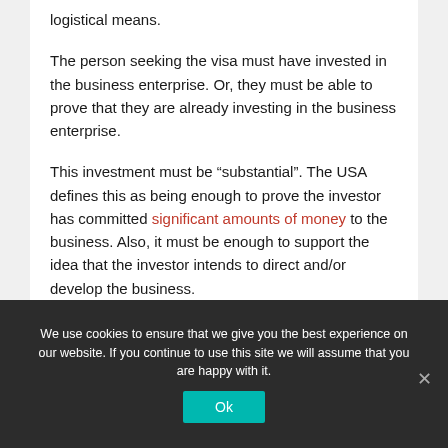logistical means.
The person seeking the visa must have invested in the business enterprise. Or, they must be able to prove that they are already investing in the business enterprise.
This investment must be “substantial”. The USA defines this as being enough to prove the investor has committed significant amounts of money to the business. Also, it must be enough to support the idea that the investor intends to direct and/or develop the business.
We use cookies to ensure that we give you the best experience on our website. If you continue to use this site we will assume that you are happy with it.